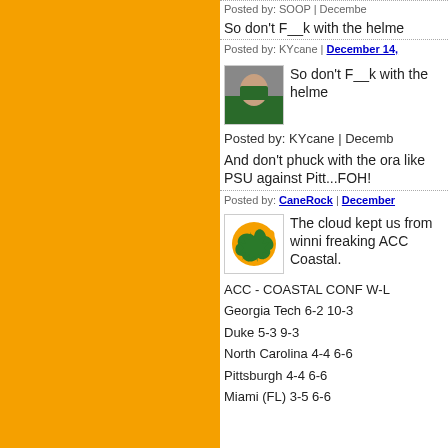Posted by: SOOP | December
So don't F__k with the helme
Posted by: KYcane | December 14,
[Figure (photo): Avatar photo of a football player wearing a green jersey]
So don't F__k with the helme
Posted by: KYcane | Decemb
And don't phuck with the ora like PSU against Pitt...FOH!
Posted by: CaneRock | December
[Figure (logo): Orange and green bat logo on white background]
The cloud kept us from winni freaking ACC Coastal.
ACC - COASTAL CONF W-L
Georgia Tech 6-2 10-3
Duke 5-3 9-3
North Carolina 4-4 6-6
Pittsburgh 4-4 6-6
Miami (FL) 3-5 6-6